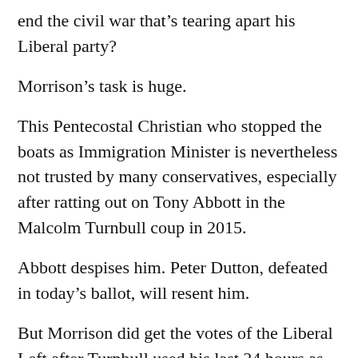end the civil war that's tearing apart his Liberal party?
Morrison's task is huge.
This Pentecostal Christian who stopped the boats as Immigration Minister is nevertheless not trusted by many conservatives, especially after ratting out on Tony Abbott in the Malcolm Turnbull coup in 2015.
Abbott despises him. Peter Dutton, defeated in today's ballot, will resent him.
But Morrison did get the votes of the Liberal Left after Turnbull used his last 24 hours as Prime Minister to desperately still holding the leadership challenge to buy his Treasurer time to win more votes.
If Morrison can now heal old animosities with the conservative wing, he may yet get some pretence of unity in the party that the conservatives had been trying to deny him.